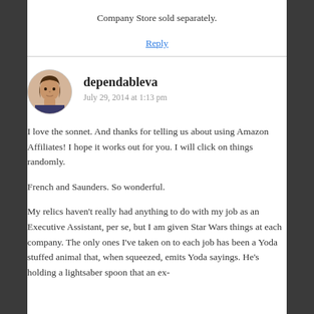Company Store sold separately.
Reply
dependableva
July 29, 2014 at 1:13 pm
I love the sonnet. And thanks for telling us about using Amazon Affiliates! I hope it works out for you. I will click on things randomly.
French and Saunders. So wonderful.
My relics haven't really had anything to do with my job as an Executive Assistant, per se, but I am given Star Wars things at each company. The only ones I've taken on to each job has been a Yoda stuffed animal that, when squeezed, emits Yoda sayings. He's holding a lightsaber spoon that an ex-